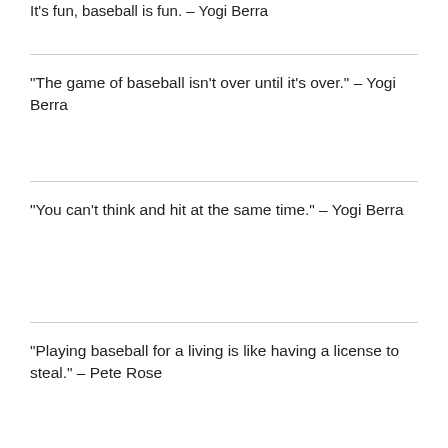It's fun, baseball is fun. – Yogi Berra
“The game of baseball isn’t over until it’s over.” – Yogi Berra
“You can’t think and hit at the same time.” – Yogi Berra
“Playing baseball for a living is like having a license to steal.” – Pete Rose